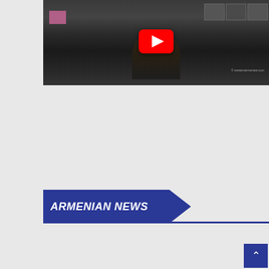[Figure (screenshot): YouTube video thumbnail showing a news anchor in a TV studio with multiple screens in background. YouTube play button overlaid. Watermark reads '© westernarmeniatv.com']
ARMENIAN NEWS
[Figure (screenshot): YouTube video thumbnail with header bar showing Armenian news logo, title 'Lrahos 2018-07-23', YouTube play button overlaid. Shows female news anchor in studio. Bottom ticker partially visible showing Armenian text.]